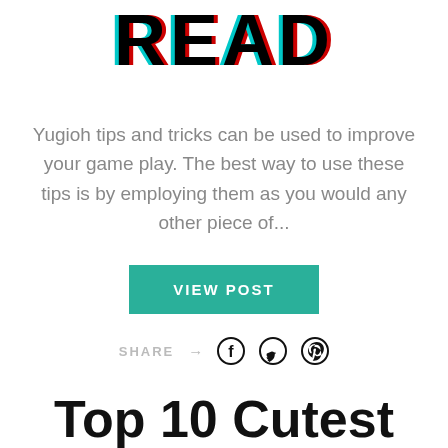[Figure (logo): Bold stylized 'READ' text logo with cyan/teal shadow offset to the left and red shadow offset to the right, on white background]
Yugioh tips and tricks can be used to improve your game play. The best way to use these tips is by employing them as you would any other piece of...
[Figure (other): Teal/green 'VIEW POST' button]
SHARE → (Facebook icon) (Twitter icon) (Pinterest icon)
Top 10 Cutest